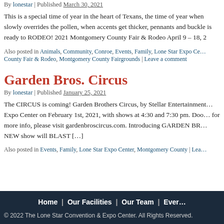By lonestar | Published March 30, 2021
This is a special time of year in the heart of Texans, the time of year when slowly overrides the pollen, when accents get thicker, pennants and buckle is ready to RODEO! 2021 Montgomery County Fair & Rodeo April 9 – 18, 2…
Also posted in Animals, Community, Conroe, Events, Family, Lone Star Expo Ce… County Fair & Rodeo, Montgomery County Fairgrounds | Leave a comment
Garden Bros. Circus
By lonestar | Published January 25, 2021
The CIRCUS is coming! Garden Brothers Circus, by Stellar Entertainment… Expo Center on February 1st, 2021, with shows at 4:30 and 7:30 pm. Doo… for more info, please visit gardenbroscircus.com. Introducing GARDEN BR… NEW show will BLAST […]
Also posted in Events, Family, Lone Star Expo Center, Montgomery County | Lea…
Home | Our Facilities | Our Team | Ever… © 2022 The Lone Star Convention & Expo Center. All Rights Reserved.